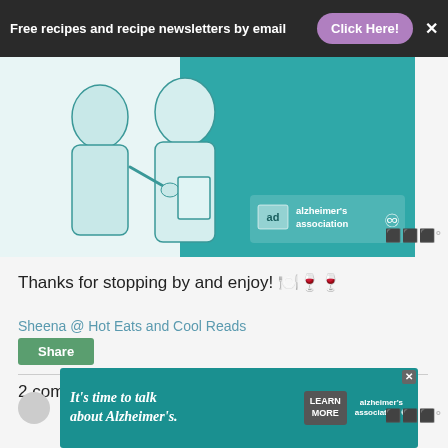Free recipes and recipe newsletters by email   Click Here!
[Figure (illustration): Alzheimer's Association illustrated advertisement showing two people, one appearing to be a caregiver with teal/green illustrated art style, with Alzheimer's Association logo and 'ad' label]
Thanks for stopping by and enjoy! 🍽️🍷🍷
Sheena @ Hot Eats and Cool Reads
Share
2 comments:
[Figure (advertisement): Alzheimer's Association ad: 'It's time to talk about Alzheimer's.' with LEARN MORE button and Alzheimer's Association logo on teal background]